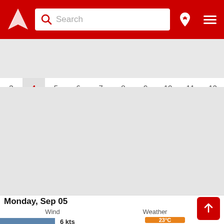[Figure (screenshot): App header with red background, triangular logo, search box, pin icon, and hamburger menu]
[Figure (continuous-plot): Horizontal timeline chart showing days 3 through 12 with weather data bands in blue, cyan, green, yellow, and red colors. Day 4 is highlighted/selected in gray.]
Monday, Sep 05
Wind
Weather
6 kts
23°C